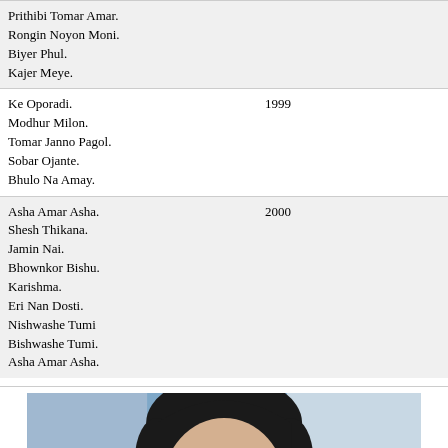Prithibi Tomar Amar.
Rongin Noyon Moni.
Biyer Phul.
Kajer Meye.
Ke Oporadi.
Modhur Milon.
Tomar Janno Pagol.
Sobar Ojante.
Bhulo Na Amay.
1999
Asha Amar Asha.
Shesh Thikana.
Jamin Nai.
Bhownkor Bishu.
Karishma.
Eri Nan Dosti.
Nishwashe Tumi Bishwashe Tumi.
Asha Amar Asha.
2000
[Figure (photo): Portrait photo of a person with dark hair against a blue background]